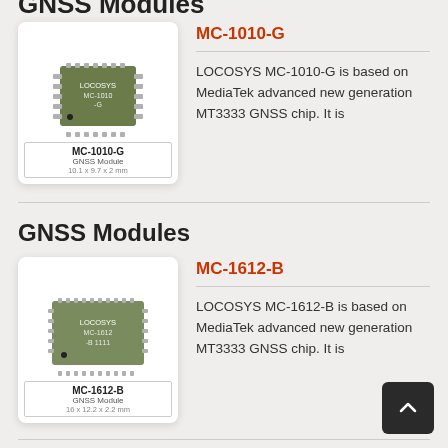GNSS Modules
[Figure (photo): Photo of MC-1010-G GNSS module chip, a green square IC component with pins. Label shows: MC-1010-G, GNSS Module, 10.1 x 9.7 x 2 mm]
MC-1010-G
LOCOSYS MC-1010-G is based on MediaTek advanced new generation MT3333 GNSS chip. It is
GNSS Modules
[Figure (photo): Photo of MC-1612-B GNSS module chip, a green square IC component with pins. Label shows: MC-1612-B, GNSS Module, 16 x 12.2 x 2.2 mm]
MC-1612-B
LOCOSYS MC-1612-B is based on MediaTek advanced new generation MT3333 GNSS chip. It is